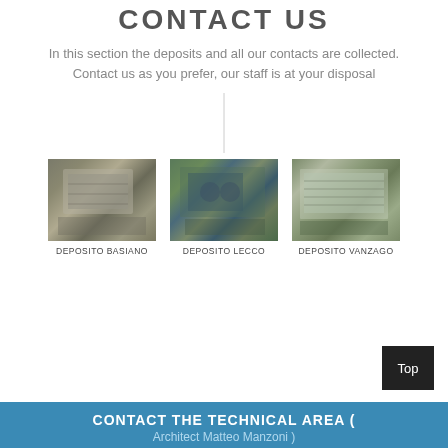CONTACT US
In this section the deposits and all our contacts are collected.
Contact us as you prefer, our staff is at your disposal
[Figure (photo): Aerial satellite photo of Deposito Basiano warehouse facility]
DEPOSITO BASIANO
[Figure (photo): Aerial satellite photo of Deposito Lecco warehouse facility]
DEPOSITO LECCO
[Figure (photo): Aerial satellite photo of Deposito Vanzago warehouse facility]
DEPOSITO VANZAGO
CONTACT THE TECHNICAL AREA ( Architect Matteo Manzoni )